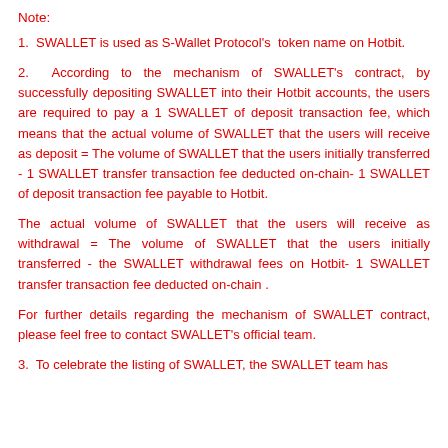Note:
1.  SWALLET is used as S-Wallet Protocol's  token name on Hotbit.
2.  According to the mechanism of SWALLET's contract, by successfully depositing SWALLET into their Hotbit accounts, the users are required to pay a 1 SWALLET of deposit transaction fee, which means that the actual volume of SWALLET that the users will receive as deposit = The volume of SWALLET that the users initially transferred - 1 SWALLET transfer transaction fee deducted on-chain- 1 SWALLET of deposit transaction fee payable to Hotbit.
The actual volume of SWALLET that the users will receive as withdrawal = The volume of SWALLET that the users initially transferred - the SWALLET withdrawal fees on Hotbit- 1 SWALLET transfer transaction fee deducted on-chain .
For further details regarding the mechanism of SWALLET contract, please feel free to contact SWALLET's official team.
3.  To celebrate the listing of SWALLET, the SWALLET team has